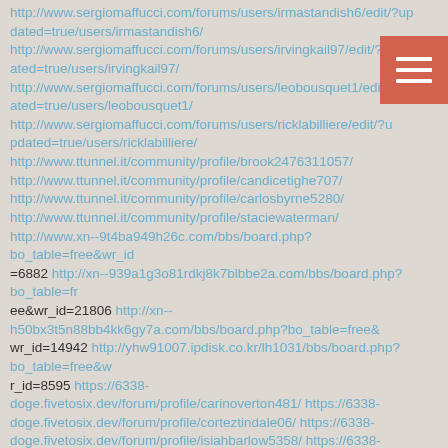http://www.sergiomaffucci.com/forums/users/irmastandish6/edit/?updated=true/users/irmastandish6/ http://www.sergiomaffucci.com/forums/users/irvingkail97/edit/?updated=true/users/irvingkail97/ http://www.sergiomaffucci.com/forums/users/leobousquet1/edit/?updated=true/users/leobousquet1/ http://www.sergiomaffucci.com/forums/users/ricklabilliere/edit/?updated=true/users/ricklabilliere/ http://www.ttunnel.it/community/profile/brook2476311057/ http://www.ttunnel.it/community/profile/candicetighe707/ http://www.ttunnel.it/community/profile/carlosbyrne5280/ http://www.ttunnel.it/community/profile/staciewaterman/ http://www.xn--9t4ba949h26c.com/bbs/board.php?bo_table=free&wr_id =6882 http://xn--939a1g3o81rdkj8k7blbbe2a.com/bbs/board.php?bo_table=fr ee&wr_id=21806 http://xn--h50bx3t5n88bb4kk6gy7a.com/bbs/board.php?bo_table=free&wr_id=14942 http://yhw91007.ipdisk.co.kr/lh1031/bbs/board.php?bo_table=free&wr_id=8595 https://6338-doge.fivetosix.dev/forum/profile/carinoverton481/ https://6338-doge.fivetosix.dev/forum/profile/corteztindale06/ https://6338-doge.fivetosix.dev/forum/profile/isiahbarlow5358/ https://6338-doge.fivetosix.dev/forum/profile/philomenamerry/ https://6338-doge.fivetosix.dev/forum/profile/vickieve768395/ https://6mmdesignndecorstudio.com/2022/08/06/%d0%b4%d0%b2%d0%b0-%d1%85%d0%be%d0%bb%d0%bc%d0%b0-1-%d1%81%d0%b5%d0%b7%d0%be%d0%bd-1-%d1%81%d0%b5%d1%80%d0%b8%d1%8f-1-1